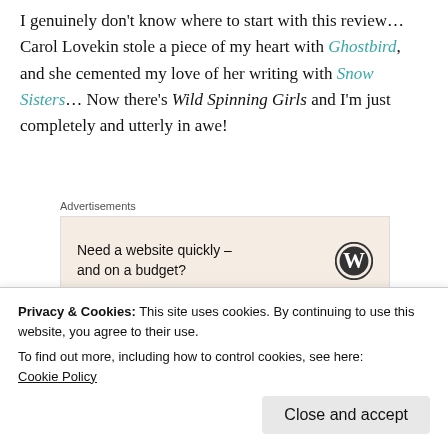I genuinely don't know where to start with this review… Carol Lovekin stole a piece of my heart with Ghostbird, and she cemented my love of her writing with Snow Sisters… Now there's Wild Spinning Girls and I'm just completely and utterly in awe!
[Figure (other): Advertisement box with text 'Need a website quickly – and on a budget?' and WordPress logo]
I jumped at the chance to read Wild Spinning Girls
Privacy & Cookies: This site uses cookies. By continuing to use this website, you agree to their use. To find out more, including how to control cookies, see here: Cookie Policy